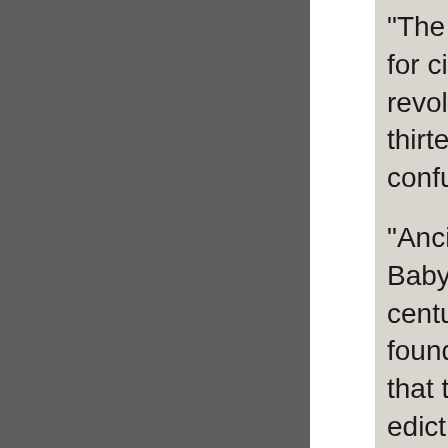"The most notable a for civilized time w revolutionary calen thirteen years, and i confuses the record
"Ancient history als Babylonian Eponym centuries before the founding of that gre that the letter A.U.C edict forced this ch Jesus Christ.  How answer to this quest
"Who is the person recognition?"
He was a humble in the then existing Ro no book.  He overth influential followers